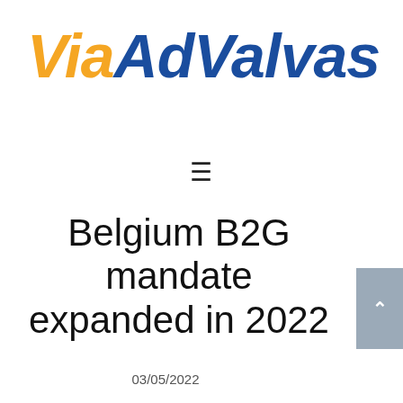[Figure (logo): ViaAdValvas logo — 'Via' in bold italic orange, 'AdValvas' in bold italic dark blue]
≡
Belgium B2G mandate expanded in 2022
03/05/2022